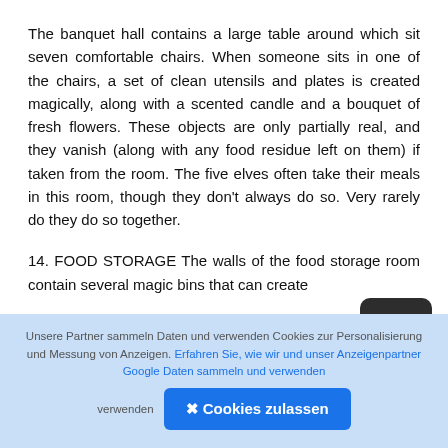The banquet hall contains a large table around which sit seven comfortable chairs. When someone sits in one of the chairs, a set of clean utensils and plates is created magically, along with a scented candle and a bouquet of fresh flowers. These objects are only partially real, and they vanish (along with any food residue left on them) if taken from the room. The five elves often take their meals in this room, though they don't always do so. Very rarely do they do so together.
14. FOOD STORAGE The walls of the food storage room contain several magic bins that can create
Unsere Partner sammeln Daten und verwenden Cookies zur Personalisierung und Messung von Anzeigen. Erfahren Sie, wie wir und unser Anzeigenpartner Google Daten sammeln und verwenden